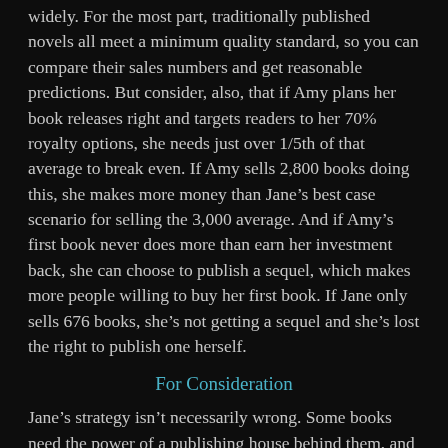widely. For the most part, traditionally published novels all meet a minimum quality standard, so you can compare their sales numbers and get reasonable predictions. But consider, also, that if Amy plans her book releases right and targets readers to her 70% royalty options, she needs just over 1/5th of that average to break even. If Amy sells 2,800 books doing this, she makes more money than Jane's best case scenario for selling the 3,000 average. And if Amy's first book never does more than earn her investment back, she can choose to publish a sequel, which makes more people willing to buy her first book. If Jane only sells 676 books, she's not getting a sequel and she's lost the right to publish one herself.
For Consideration
Jane's strategy isn't necessarily wrong. Some books need the power of a publishing house behind them, and some authors can't afford the $4,000 that Amy spent on good publishing. But if you can afford to self-publish and have a...